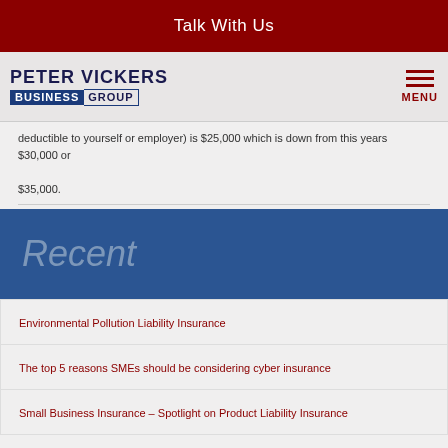Talk With Us
[Figure (logo): Peter Vickers Business Group logo with hamburger menu icon]
deductible to yourself or employer) is $25,000 which is down from this years $30,000 or $35,000.
Recent
Environmental Pollution Liability Insurance
The top 5 reasons SMEs should be considering cyber insurance
Small Business Insurance – Spotlight on Product Liability Insurance